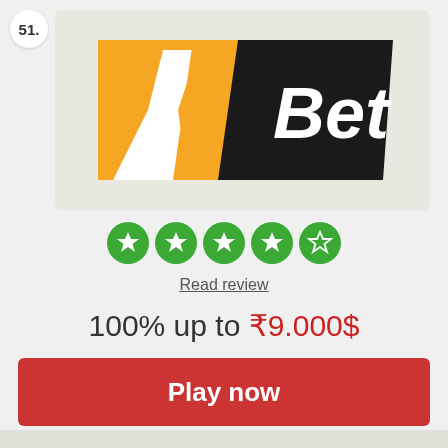51.
[Figure (logo): 1Bet logo with orange diagonal slash and white number 1 on black background with 'Bet' text in white]
[Figure (infographic): Five green circle star rating icons, four filled stars and one empty star outline]
Read review
100% up to ₹9.000$
Play now
Terms & conditions apply